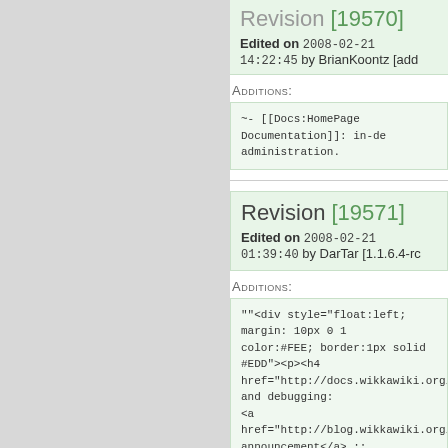Revision [19570] Edited on 2008-02-21 14:22:45 by BrianKoontz [add
Additions:
-- [[Docs:HomePage Documentation]]: in-de administration.
Revision [19571] Edited on 2008-02-21 01:39:40 by DarTar [1.1.6.4-rc
Additions:
""<div style="float:left; margin: 10px 0 1 color:#FEE; border:1px solid #EDD"><p><h4 href="http://docs.wikkawiki.org/WikkaRele and debugging: <a href="http://blog.wikkawiki.org/2008/01 announcement</a> ::